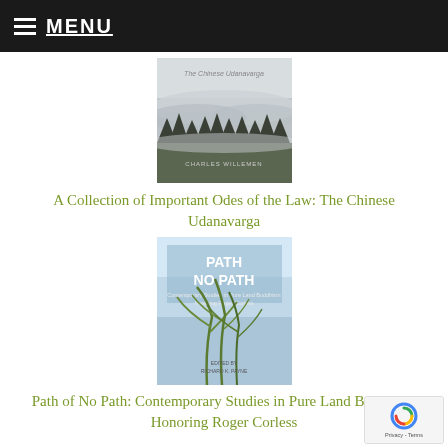MENU
[Figure (photo): Book cover of 'A Collection of Important Odes of the Law: The Chinese Udanavarga' by Charles Willemen, showing misty forested mountains in grey tones]
A Collection of Important Odes of the Law: The Chinese Udanavarga
[Figure (photo): Book cover of 'Path of No Path: Contemporary Studies in Pure Land Buddhism Honoring Roger Corless', showing grass/reeds against a light blue sky, edited by Richard K. Payne]
Path of No Path: Contemporary Studies in Pure Land Buddhism Honoring Roger Corless